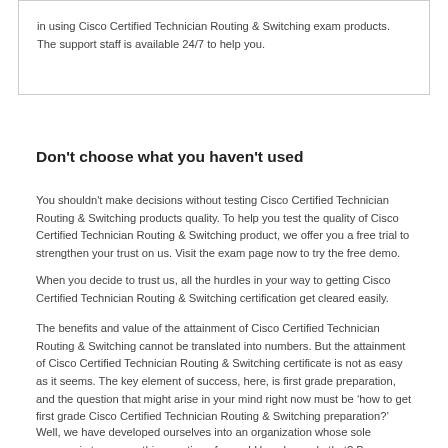in using Cisco Certified Technician Routing & Switching exam products. The support staff is available 24/7 to help you.
Don't choose what you haven't used
You shouldn't make decisions without testing Cisco Certified Technician Routing & Switching products quality. To help you test the quality of Cisco Certified Technician Routing & Switching product, we offer you a free trial to strengthen your trust on us. Visit the exam page now to try the free demo.
When you decide to trust us, all the hurdles in your way to getting Cisco Certified Technician Routing & Switching certification get cleared easily.
The benefits and value of the attainment of Cisco Certified Technician Routing & Switching cannot be translated into numbers. But the attainment of Cisco Certified Technician Routing & Switching certificate is not as easy as it seems. The key element of success, here, is first grade preparation, and the question that might arise in your mind right now must be ‘how to get first grade Cisco Certified Technician Routing & Switching preparation?’
Well, we have developed ourselves into an organization whose sole purpose is to answer this question of yours! How do we do that? By